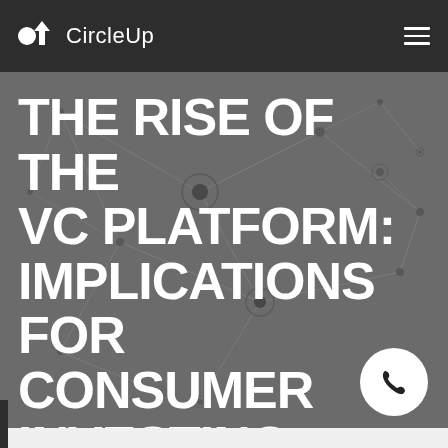CircleUp
THE RISE OF THE VC PLATFORM: IMPLICATIONS FOR CONSUMER INVESTING
[Figure (illustration): Network graph background with nodes and connecting lines on dark grey background]
[Figure (illustration): White circular phone/call button in bottom right of hero image]